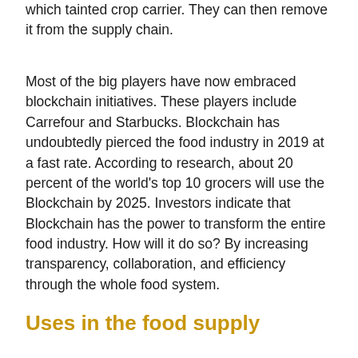which tainted crop carrier. They can then remove it from the supply chain.
Most of the big players have now embraced blockchain initiatives. These players include Carrefour and Starbucks. Blockchain has undoubtedly pierced the food industry in 2019 at a fast rate. According to research, about 20 percent of the world's top 10 grocers will use the Blockchain by 2025. Investors indicate that Blockchain has the power to transform the entire food industry. How will it do so? By increasing transparency, collaboration, and efficiency through the whole food system.
Uses in the food supply